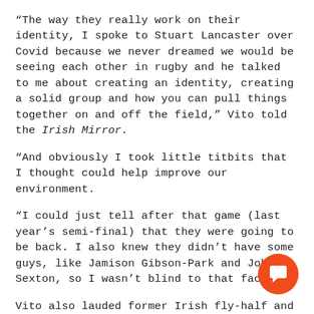“The way they really work on their identity, I spoke to Stuart Lancaster over Covid because we never dreamed we would be seeing each other in rugby and he talked to me about creating an identity, creating a solid group and how you can pull things together on and off the field,” Vito told the Irish Mirror.
“And obviously I took little titbits that I thought could help improve our environment.
“I could just tell after that game (last year’s semi-final) that they were going to be back. I also knew they didn’t have some guys, like Jamison Gibson-Park and Johnny Sexton, so I wasn’t blind to that fact.”
Vito also lauded former Irish fly-half and current La Rochelle coach Ronan O’Gara for taking the French side to the Champions Cup final in his first season in the hot seat.